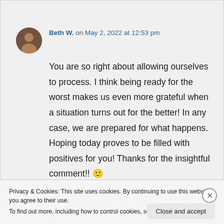Beth W. on May 2, 2022 at 12:53 pm
You are so right about allowing ourselves to process. I think being ready for the worst makes us even more grateful when a situation turns out for the better! In any case, we are prepared for what happens. Hoping today proves to be filled with positives for you! Thanks for the insightful comment!! 🙂
Privacy & Cookies: This site uses cookies. By continuing to use this website, you agree to their use.
To find out more, including how to control cookies, see here: Cookie Policy